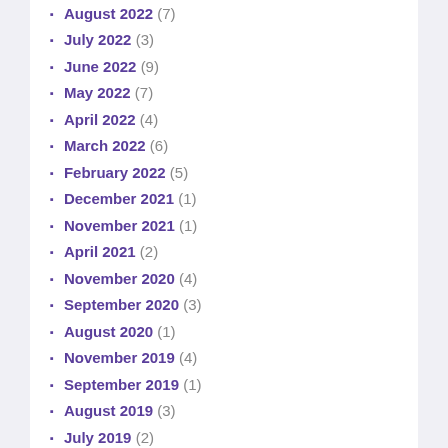August 2022 (7)
July 2022 (3)
June 2022 (9)
May 2022 (7)
April 2022 (4)
March 2022 (6)
February 2022 (5)
December 2021 (1)
November 2021 (1)
April 2021 (2)
November 2020 (4)
September 2020 (3)
August 2020 (1)
November 2019 (4)
September 2019 (1)
August 2019 (3)
July 2019 (2)
June 2019 (2)
May 2019 (2)
March 2019 (2)
February 2019 (1)
December 2018 (3)